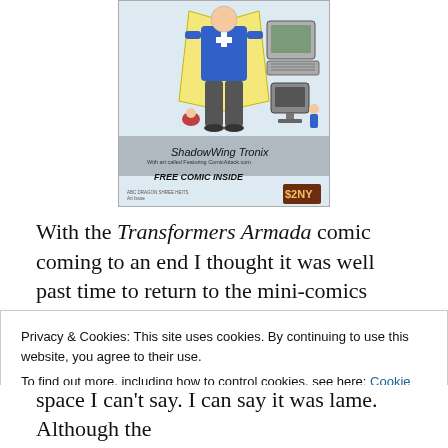[Figure (illustration): Hand-drawn illustration of a character labeled 'ShadowWing Tronix' — a tall figure in blue shirt and grey pants, with a small creature at feet and electronics (computer, TV) to the right. Text at bottom reads 'ShadowWing Tronix', 'With art called Featuring ComicAttack.com', 'FREE COMIC INSIDE', and a brown '$2NY' price sticker.]
With the Transformers Armada comic coming to an end I thought it was well past time to return to the mini-comics
Privacy & Cookies: This site uses cookies. By continuing to use this website, you agree to their use.
To find out more, including how to control cookies, see here: Cookie Policy
space I can't say. I can say it was lame. Although the